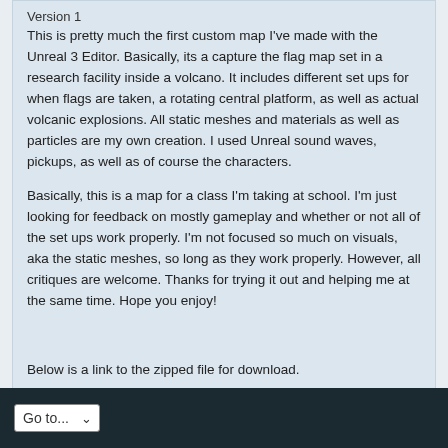Version 1
This is pretty much the first custom map I've made with the Unreal 3 Editor. Basically, its a capture the flag map set in a research facility inside a volcano. It includes different set ups for when flags are taken, a rotating central platform, as well as actual volcanic explosions. All static meshes and materials as well as particles are my own creation. I used Unreal sound waves, pickups, as well as of course the characters.
Basically, this is a map for a class I'm taking at school. I'm just looking for feedback on mostly gameplay and whether or not all of the set ups work properly. I'm not focused so much on visuals, aka the static meshes, so long as they work properly. However, all critiques are welcome. Thanks for trying it out and helping me at the same time. Hope you enjoy!
Below is a link to the zipped file for download.
http://brokenworldstudio.webs.com/leveldesign.htm
Tags: None
Go to...